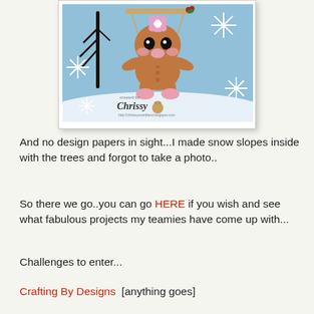[Figure (photo): A handmade greeting card featuring a cute gingerbread girl character sitting on a swing, set against a light blue snowy background with white snowflakes and bare black trees. The card is signed 'created by Chrissy' with a blog URL. The card is displayed with a white border and drop shadow.]
And no design papers in sight...I made snow slopes inside with the trees and forgot to take a photo..
So there we go..you can go HERE if you wish and see what fabulous projects my teamies have come up with...
Challenges to enter...
Crafting By Designs  [anything goes]